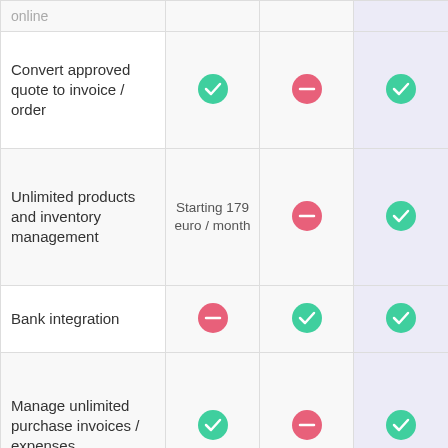| Feature | Col2 | Col3 | Col4 |
| --- | --- | --- | --- |
| online |  |  |  |
| Convert approved quote to invoice / order | ✓ | – | ✓ |
| Unlimited products and inventory management | Starting 179 euro / month | – | ✓ |
| Bank integration | – | ✓ | ✓ |
| Manage unlimited purchase invoices / expenses | ✓ | – | ✓ |
| Scan and process purchase invoices | 0,35 euro / month | – | ✓ |